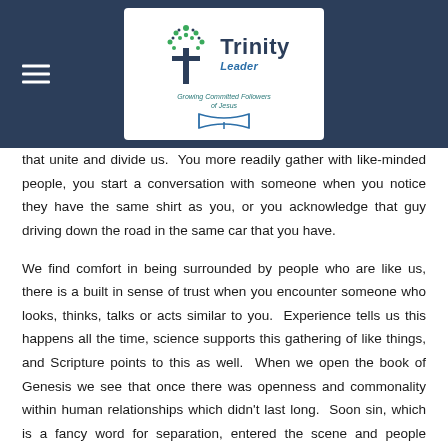Trinity Leader — Growing Committed Followers of Jesus
that unite and divide us.  You more readily gather with like-minded people, you start a conversation with someone when you notice they have the same shirt as you, or you acknowledge that guy driving down the road in the same car that you have.
We find comfort in being surrounded by people who are like us, there is a built in sense of trust when you encounter someone who looks, thinks, talks or acts similar to you.  Experience tells us this happens all the time, science supports this gathering of like things, and Scripture points to this as well.  When we open the book of Genesis we see that once there was openness and commonality within human relationships which didn't last long.  Soon sin, which is a fancy word for separation, entered the scene and people became divided.  Wars were fought between people